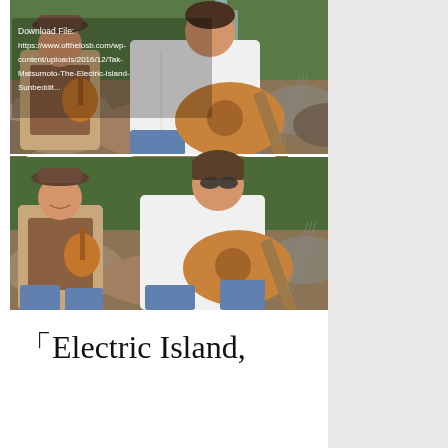[Figure (photo): Two stacked photos showing musicians with guitars outdoors near a waterfall and rocks. Top photo shows two people sitting on rocks, one holding a ukulele/small guitar, another playing an electric guitar. A white overlay text reads: 'Download File: https://www.ofthelosb.com/wp-content/uploads/2016/12/Tak-Matsumoto-The-Electric-Island-Sunbeddit...'. Bottom photo shows similar scene: person in hat with ukulele and person with sunglasses playing electric guitar.]
「Electric Island,